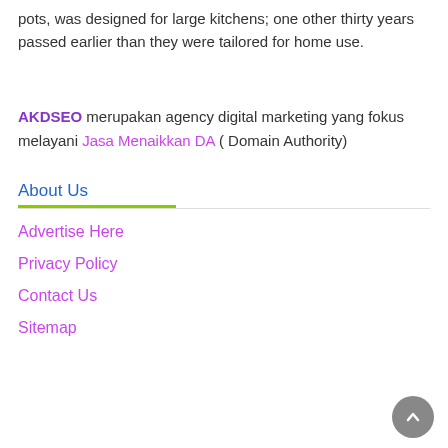pots, was designed for large kitchens; one other thirty years passed earlier than they were tailored for home use.
AKDSEO merupakan agency digital marketing yang fokus melayani Jasa Menaikkan DA ( Domain Authority)
About Us
Advertise Here
Privacy Policy
Contact Us
Sitemap